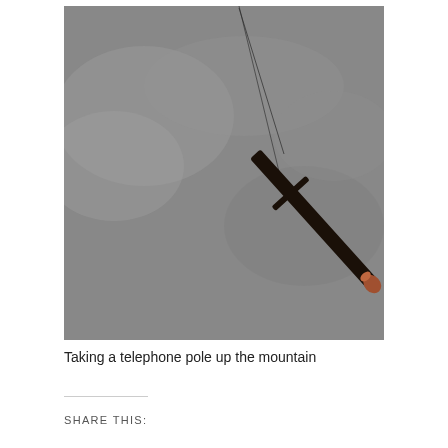[Figure (photo): A telephone pole suspended diagonally in the air against an overcast grey sky, being transported up a mountain. The pole appears dark/black with a reddish-brown metallic end at the bottom right, hanging at roughly a 45-degree angle. A thin wire or cable extends from the top left toward the pole.]
Taking a telephone pole up the mountain
SHARE THIS: